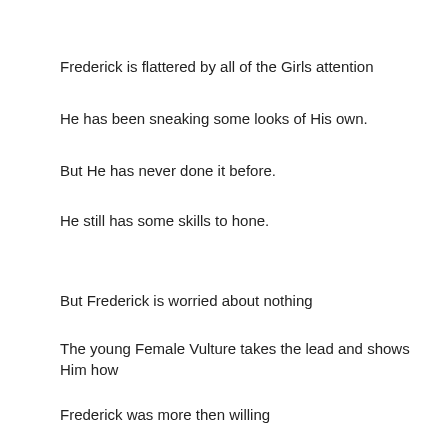Frederick is flattered by all of the Girls attention
He has been sneaking some looks of His own.
But He has never done it before.
He still has some skills to hone.
But Frederick is worried about nothing
The young Female Vulture takes the lead and shows Him how
Frederick was more then willing